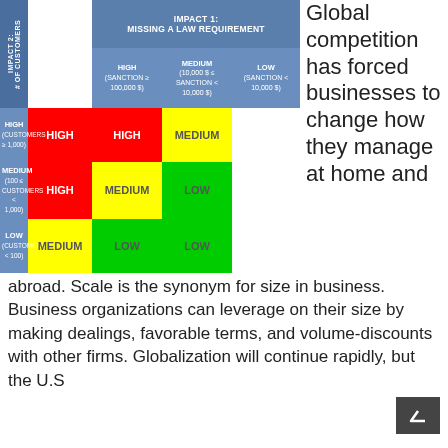[Figure (table-as-image): Risk matrix showing combined impact of 'Impact 1: Missing a Law Requirement' (columns: HIGH sanction≥100,000$, MEDIUM 10,000$≤sanction<100,000$, LOW sanction<10,000$) and 'Impact 2: # of Customers' (rows: HIGH customers≥1,000, MEDIUM 100≤customers<1,000, LOW customers<100). Cells show risk levels: HIGH/HIGH=HIGH(red), HIGH/MEDIUM=HIGH(red), HIGH/LOW=MEDIUM(yellow), MEDIUM/HIGH=HIGH(red), MEDIUM/MEDIUM=MEDIUM(yellow), MEDIUM/LOW=LOW(green), LOW/HIGH=MEDIUM(yellow), LOW/MEDIUM=LOW(green), LOW/LOW=LOW(green).]
Global competition has forced businesses to change how they manage at home and abroad. Scale is the synonym for size in business. Business organizations can leverage on their size by making dealings, favorable terms, and volume-discounts with other firms. Globalization will continue rapidly, but the U.S